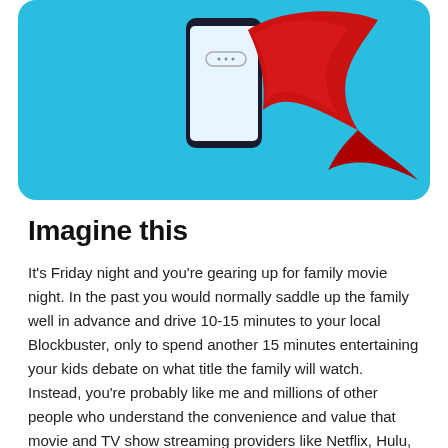[Figure (illustration): A smartphone with a small message bubble on screen, with a flowing red cape behind it, on a cyan/light blue rounded rectangle background — superhero phone illustration.]
Imagine this
It's Friday night and you're gearing up for family movie night. In the past you would normally saddle up the family well in advance and drive 10-15 minutes to your local Blockbuster, only to spend another 15 minutes entertaining your kids debate on what title the family will watch. Instead, you're probably like me and millions of other people who understand the convenience and value that movie and TV show streaming providers like Netflix, Hulu, and Amazon bring to your arsenal of time management skills. So like the time organization